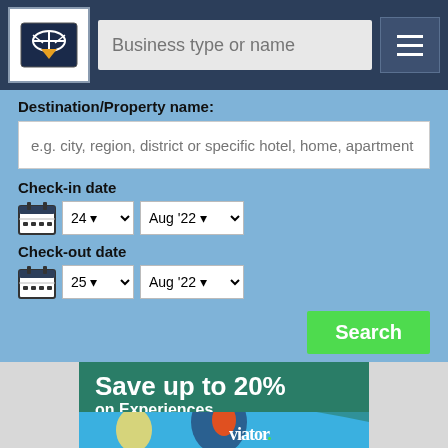[Figure (screenshot): Navigation bar with logo, business type or name search input, and hamburger menu button]
Destination/Property name:
e.g. city, region, district or specific hotel, home, apartment
Check-in date
24  Aug '22
Check-out date
25  Aug '22
Search
[Figure (illustration): Viator advertisement banner: 'Save up to 20% on Experiences' with hot air balloons imagery and viator logo on blue/teal background]